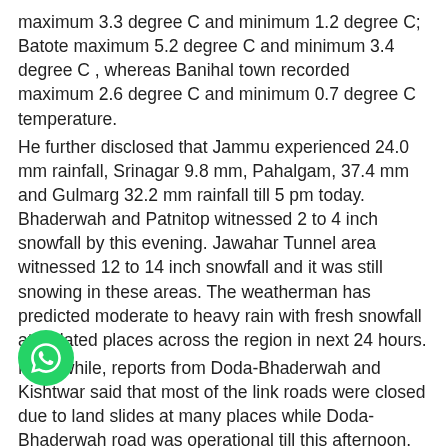maximum 3.3 degree C and minimum 1.2 degree C; Batote maximum 5.2 degree C and minimum 3.4 degree C , whereas Banihal town recorded maximum 2.6 degree C and minimum 0.7 degree C temperature.
He further disclosed that Jammu experienced 24.0 mm rainfall, Srinagar 9.8 mm, Pahalgam, 37.4 mm and Gulmarg 32.2 mm rainfall till 5 pm today. Bhaderwah and Patnitop witnessed 2 to 4 inch snowfall by this evening. Jawahar Tunnel area witnessed 12 to 14 inch snowfall and it was still snowing in these areas. The weatherman has predicted moderate to heavy rain with fresh snowfall at isolated places across the region in next 24 hours.
Meanwhile, reports from Doda-Bhaderwah and Kishtwar said that most of the link roads were closed due to land slides at many places while Doda-Bhaderwah road was operational till this afternoon. Dudu-Basantgarh and Majori in Udhampur; N    Gool and Mahore- Gulabgarh and Mahore- Budhal r    Reasi were also closed due to landslides and fresh snowfall at the higher reaches. Bani-Loang- Sarthal and
[Figure (logo): WhatsApp floating button icon - green circle with white WhatsApp phone handset logo]